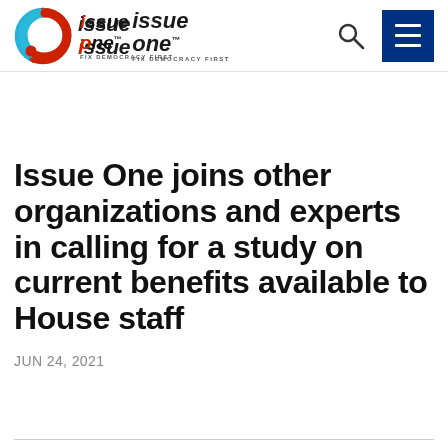Issue One — Fix Democracy First
Issue One joins other organizations and experts in calling for a study on current benefits available to House staff
JUN 24, 2021